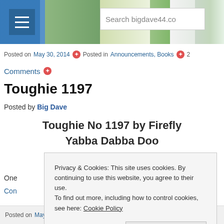bigdave44.com website header with search bar
Posted on May 30, 2014 ✦ Posted in Announcements, Books
Comments
Toughie 1197
Posted by Big Dave
Toughie No 1197 by Firefly Yabba Dabba Doo
+ – + – + – + – + – + – +
Privacy & Cookies: This site uses cookies. By continuing to use this website, you agree to their use. To find out more, including how to control cookies, see here: Cookie Policy
Close and accept
One
Con
Posted on May 30, 2014 ✦ Posted in Crosswords, Firefly, Toughie